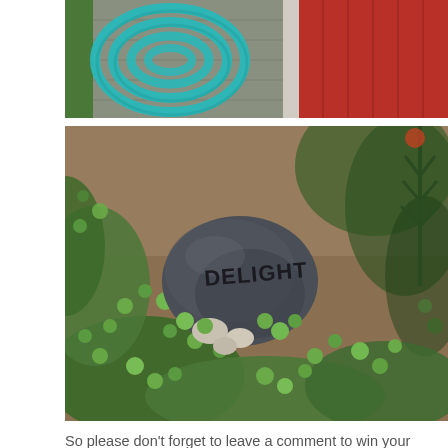[Figure (photo): A turquoise/teal garden hose coiled and hung on a gray wall beside a red wall, with a white trim strip between them.]
[Figure (photo): A dark gray stone with the word 'DELIGHT' written on it, nestled among small bright green ground cover plants and small white pebbles, with bokeh background.]
So please don't forget to leave a comment to win your very own copy of Handmade Garden Projects